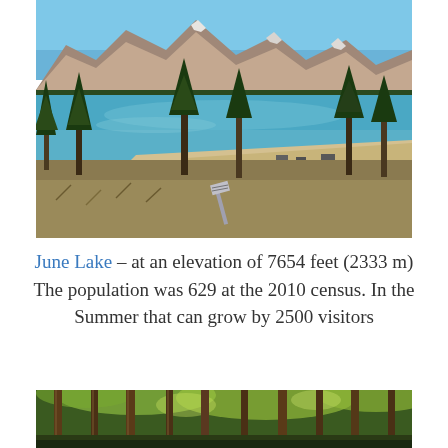[Figure (photo): Aerial view of June Lake, a mountain lake with turquoise-blue water surrounded by pine trees, sandy beach, rocky mountains with snow patches in background, dry golden brush in foreground under clear blue sky.]
June Lake – at an elevation of 7654 feet (2333 m) The population was 629 at the 2010 census. In the Summer that can grow by 2500 visitors
[Figure (photo): Forest scene with tall tree trunks (possibly aspen or pine) with green foliage canopy visible above, dappled light filtering through.]